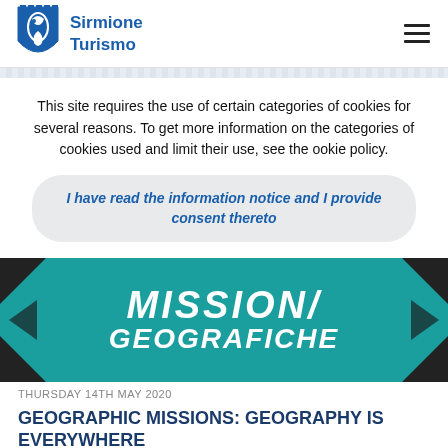Sirmione Turismo
This site requires the use of certain categories of cookies for several reasons. To get more information on the categories of cookies used and limit their use, see the ookie policy.
I have read the information notice and I provide consent thereto
[Figure (illustration): Teal/green promotional image with stylized handwritten text reading MISSIONI GEOGRAFICHE, with black corner triangles and navigation arrows on left and right sides.]
THURSDAY 14TH MAY 2020
GEOGRAPHIC MISSIONS: GEOGRAPHY IS EVERYWHERE